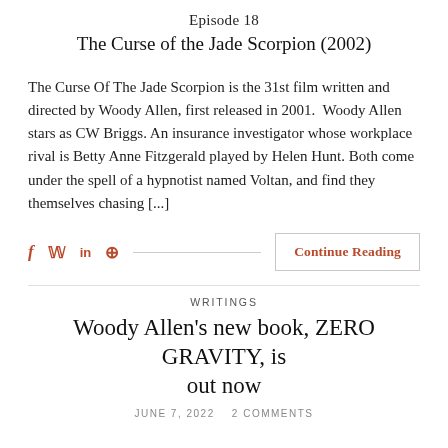Episode 18
The Curse of the Jade Scorpion (2002)
The Curse Of The Jade Scorpion is the 31st film written and directed by Woody Allen, first released in 2001. Woody Allen stars as CW Briggs. An insurance investigator whose workplace rival is Betty Anne Fitzgerald played by Helen Hunt. Both come under the spell of a hypnotist named Voltan, and find they themselves chasing [...]
Writings
Woody Allen's new book, ZERO GRAVITY, is out now
June 7, 2022  2 Comments